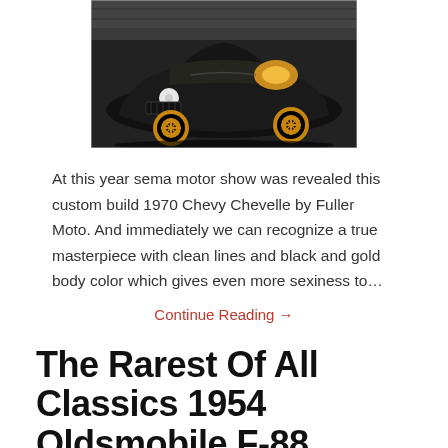[Figure (photo): Black custom 1970 Chevy Chevelle muscle car with gold wheels, hood open, photographed in a garage or show setting.]
At this year sema motor show was revealed this custom build 1970 Chevy Chevelle by Fuller Moto. And immediately we can recognize a true masterpiece with clean lines and black and gold body color which gives even more sexiness to…
Continue Reading →
The Rarest Of All Classics 1954 Oldsmobile F-88 Concept Car